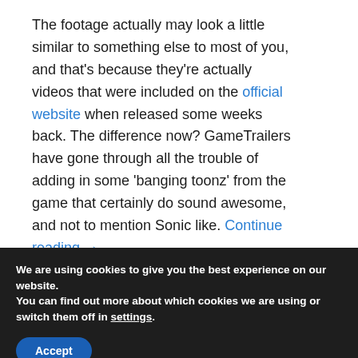The footage actually may look a little similar to something else to most of you, and that's because they're actually videos that were included on the official website when released some weeks back. The difference now? GameTrailers have gone through all the trouble of adding in some 'banging toonz' from the game that certainly do sound awesome, and not to mention Sonic like. Continue reading →
We are using cookies to give you the best experience on our website.
You can find out more about which cookies we are using or switch them off in settings.